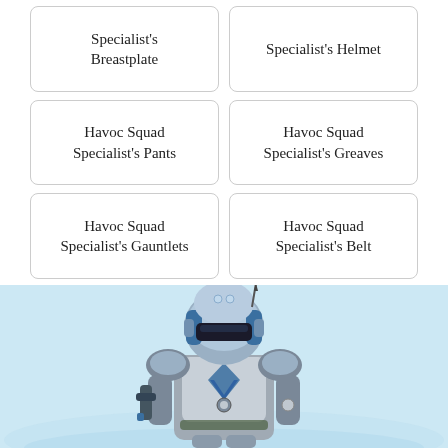Specialist's Breastplate
Specialist's Helmet
Havoc Squad Specialist's Pants
Havoc Squad Specialist's Greaves
Havoc Squad Specialist's Gauntlets
Havoc Squad Specialist's Belt
[Figure (illustration): A video game character wearing futuristic blue and grey armored suit with a helmet, standing against a light blue snowy background.]